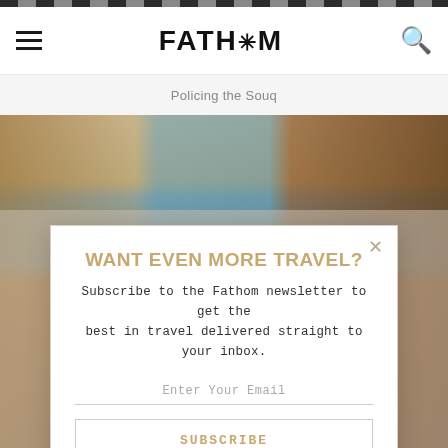FATH*M
Policing the Souq
[Figure (photo): Photo of a person in a shop or souq setting, partially visible behind a modal overlay]
WANT EVEN MORE TRAVEL?
Subscribe to the Fathom newsletter to get the best in travel delivered straight to your inbox.
Enter Your Email
SUBSCRIBE